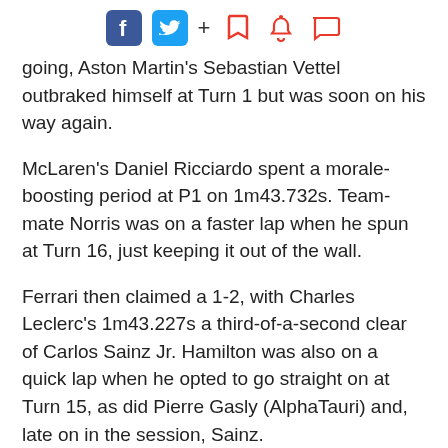Social share icons: Facebook, Twitter, plus, bookmark, bell, comment
going, Aston Martin's Sebastian Vettel outbraked himself at Turn 1 but was soon on his way again.
McLaren's Daniel Ricciardo spent a morale-boosting period at P1 on 1m43.732s. Team-mate Norris was on a faster lap when he spun at Turn 16, just keeping it out of the wall.
Ferrari then claimed a 1-2, with Charles Leclerc's 1m43.227s a third-of-a-second clear of Carlos Sainz Jr. Hamilton was also on a quick lap when he opted to go straight on at Turn 15, as did Pierre Gasly (AlphaTauri) and, late on in the session, Sainz.
[Figure (other): Gray advertisement placeholder box]